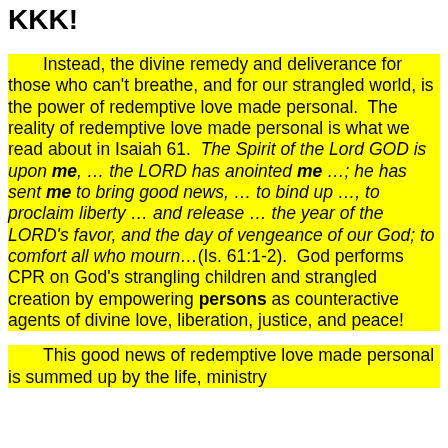KKK!
Instead, the divine remedy and deliverance for those who can't breathe, and for our strangled world, is the power of redemptive love made personal.  The reality of redemptive love made personal is what we read about in Isaiah 61.  The Spirit of the Lord GOD is upon me, … the LORD has anointed me …; he has sent me to bring good news, … to bind up …, to proclaim liberty … and release … the year of the LORD's favor, and the day of vengeance of our God; to comfort all who mourn…(Is. 61:1-2).  God performs CPR on God's strangling children and strangled creation by empowering persons as counteractive agents of divine love, liberation, justice, and peace!
This good news of redemptive love made personal is summed up by the life, ministry